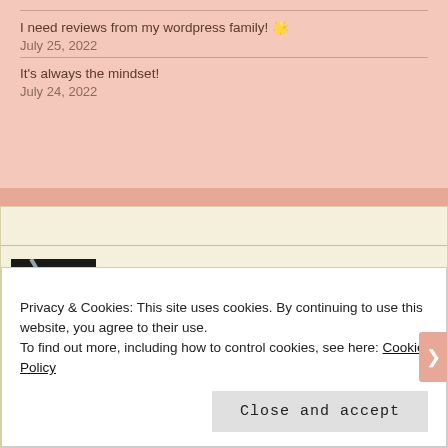I need reviews from my wordpress family! 🌟
July 25, 2022
It's always the mindset!
July 24, 2022
[Figure (screenshot): Blog widget showing a coffee image avatar and Arabic/English blog title 'صباح الخير Good Morning.!' with lined notebook background]
Privacy & Cookies: This site uses cookies. By continuing to use this website, you agree to their use.
To find out more, including how to control cookies, see here: Cookie Policy
Close and accept